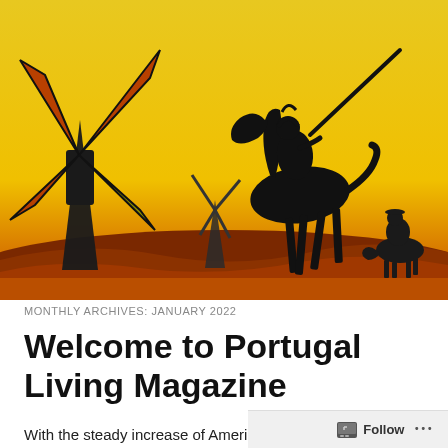[Figure (illustration): Artistic illustration on a yellow-orange background depicting a Don Quixote scene: a windmill on the left with large blades, a tall thin horse (Rocinante) in silhouette in the center, a rider figure on horseback in the far right, all rendered in bold black brush strokes against a warm yellow and orange wash background.]
MONTHLY ARCHIVES: JANUARY 2022
Welcome to Portugal Living Magazine
With the steady increase of Americans and other English-speakers in Portugal, it became evident — while living in